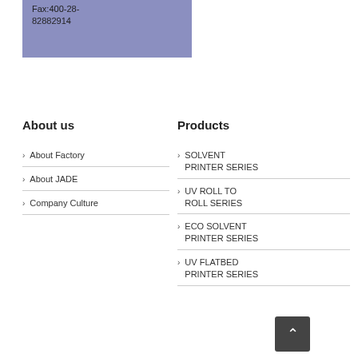Fax:400-28-82882914
About us
About Factory
About JADE
Company Culture
Products
SOLVENT PRINTER SERIES
UV ROLL TO ROLL SERIES
ECO SOLVENT PRINTER SERIES
UV FLATBED PRINTER SERIES